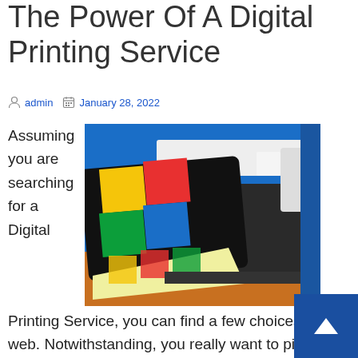The Power Of A Digital Printing Service
admin   January 28, 2022
Assuming you are searching for a Digital Printing Service, you can find a few choices on the web. Notwithstanding, you really want to pick the best one that offers the best assistance and quality prints. The organization you pick should likewise have the option to do
[Figure (photo): A large-format digital printer producing colorful printed sheets with vibrant artwork, in a print shop environment with blue walls.]